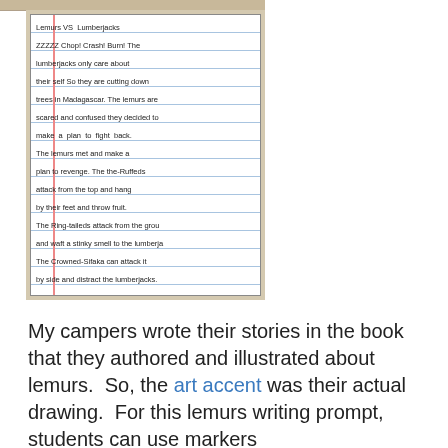[Figure (photo): A handwritten student story on lined notebook paper titled 'Lemurs VS Lumberjacks'. The text describes a battle plan where lemurs fight back against lumberjacks cutting down trees in Madagascar. Different lemur species (Ruffed, Ring-tailed, Crowned Sifaka, Aye-Aye) each have a role in the plan. The story ends with the lumberjacks never coming back to cut down trees in Madagascar ever again.]
My campers wrote their stories in the book that they authored and illustrated about lemurs.  So, the art accent was their actual drawing.  For this lemurs writing prompt, students can use markers